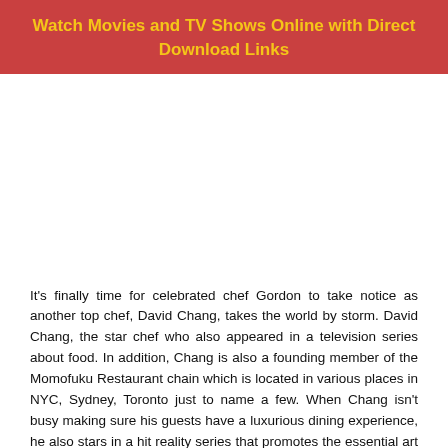Watch Movies and TV Shows Online with Direct Download Links
It's finally time for celebrated chef Gordon to take notice as another top chef, David Chang, takes the world by storm. David Chang, the star chef who also appeared in a television series about food. In addition, Chang is also a founding member of the Momofuku Restaurant chain which is located in various places in NYC, Sydney, Toronto just to name a few. When Chang isn't busy making sure his guests have a luxurious dining experience, he also stars in a hit reality series that promotes the essential art of